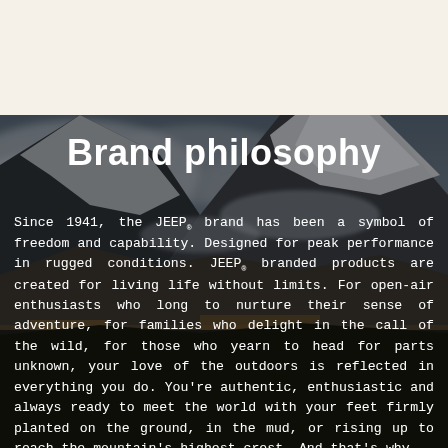[Figure (photo): Mountain landscape with snow-capped peaks and dramatic cloudy sky, used as background image for brand philosophy text overlay]
Brand philosophy
Since 1941, the JEEP® brand has been a symbol of freedom and capability. Designed for peak performance in rugged conditions. JEEP® branded products are created for living life without limits. For open-air enthusiasts who long to nurture their sense of adventure, for families who delight in the call of the wild, for those who yearn to head for parts unknown, your love of the outdoors is reflected in everything you do. You're authentic, enthusiastic and always ready to meet the world with your feet firmly planted on the ground, in the mud, or rising up to reach the mountain's highest crest. And that's why